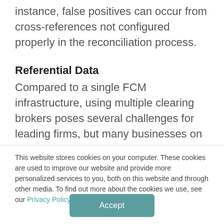instance, false positives can occur from cross-references not configured properly in the reconciliation process.
Referential Data
Compared to a single FCM infrastructure, using multiple clearing brokers poses several challenges for leading firms, but many businesses on...
This website stores cookies on your computer. These cookies are used to improve our website and provide more personalized services to you, both on this website and through other media. To find out more about the cookies we use, see our Privacy Policy.
Accept